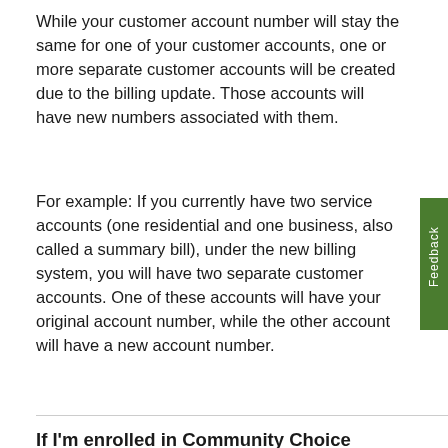While your customer account number will stay the same for one of your customer accounts, one or more separate customer accounts will be created due to the billing update. Those accounts will have new numbers associated with them.
For example: If you currently have two service accounts (one residential and one business, also called a summary bill), under the new billing system, you will have two separate customer accounts. One of these accounts will have your original account number, while the other account will have a new account number.
If I'm enrolled in Community Choice Aggregation Service (CCA Service) or Direct Access (DA), do the changes apply to me?
Yes, these changes will apply to all SCE customers, regardless of whether you're enrolled in CCA Service or